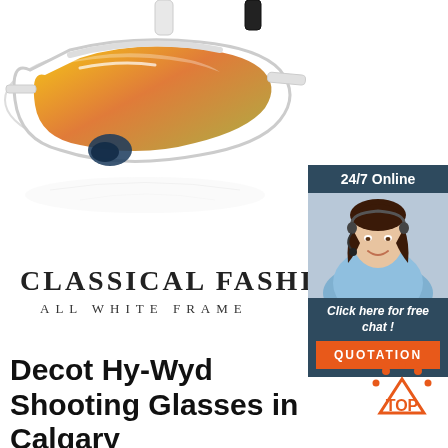[Figure (photo): White sport sunglasses with rainbow-mirrored lens and nose pad shown on white background with reflection, and text overlay: CLASSICAL FASHION / ALL WHITE FRAME]
[Figure (photo): 24/7 Online chat widget showing a female customer service agent wearing headset, with 'Click here for free chat!' text and orange QUOTATION button]
Decot Hy-Wyd Shooting Glasses in Calgary
[Figure (logo): Orange TOP badge with dots arranged in arc above the word TOP]
Finally, Decot Hy-Wyd glasses are handmade in the